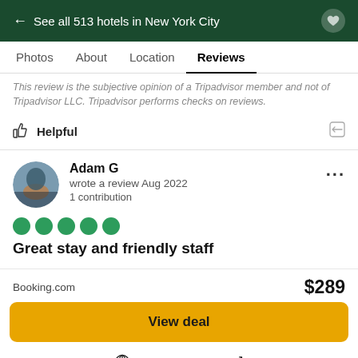← See all 513 hotels in New York City
Photos  About  Location  Reviews
This review is the subjective opinion of a Tripadvisor member and not of Tripadvisor LLC. Tripadvisor performs checks on reviews.
Helpful
Adam G wrote a review Aug 2022  1 contribution
Great stay and friendly staff
Booking.com  $289
View deal
Visit hotel website ↗